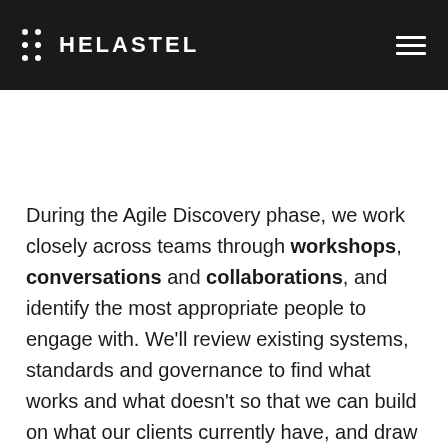HELASTEL
During the Agile Discovery phase, we work closely across teams through workshops, conversations and collaborations, and identify the most appropriate people to engage with. We'll review existing systems, standards and governance to find what works and what doesn't so that we can build on what our clients currently have, and draw upon their existing